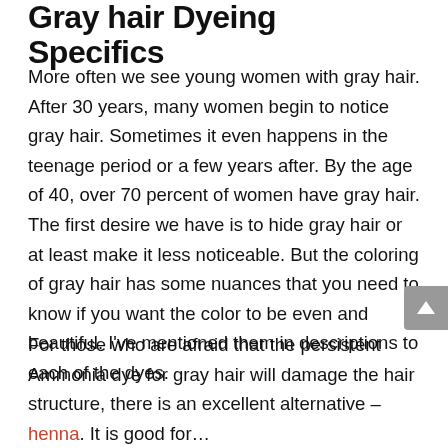Gray hair Dyeing Specifics
More often we see young women with gray hair. After 30 years, many women begin to notice gray hair. Sometimes it even happens in the teenage period or a few years after. By the age of 40, over 70 percent of women have gray hair. The first desire we have is to hide gray hair or at least make it less noticeable. But the coloring of gray hair has some nuances that you need to know if you want the color to be even and beautiful. I’ve mentioned them in descriptions to each of the dyes.
For those who are afraid that the persistent Ammonia dye for gray hair will damage the hair structure, there is an excellent alternative – henna. It is good for…